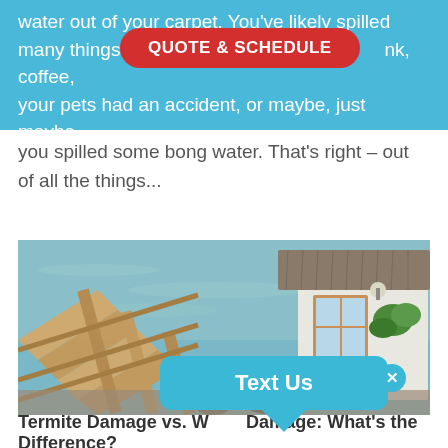water out of your carpet. You've likely spilled many things on yo... ink, coffee, your pets had an accident, or maybe, just maybe,
[Figure (other): Red rounded-rectangle button with text 'QUOTE & SCHEDULE' in white bold capital letters]
you spilled some bong water. That's right – out of all the things...
[Figure (photo): Photograph of a house with wooden fence/deck beside a body of water. Building has white walls, red-trimmed windows, tiled roof, and hanging green plants. Water visible in background.]
[Figure (other): Blue rounded chat bubble widget with 'Text Us' label in white bold text with a tail pointing down and an X close button]
Termite Damage vs. Water Damage: What's the Difference?